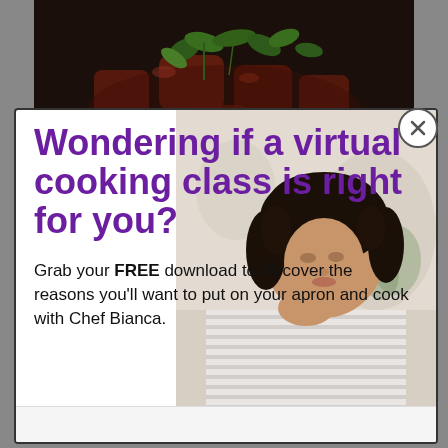[Figure (photo): Close-up photo of a food dish with dark braised meat chunks garnished with fresh green herbs and basil leaves]
[Figure (photo): Modal popup with a woman in a striped top looking down at a laptop, background is blurred bright interior]
Wondering if a virtual cooking class is right for you?
Grab your FREE download to discover the reasons you'll want to put on your apron and cook with Chef Bianca.